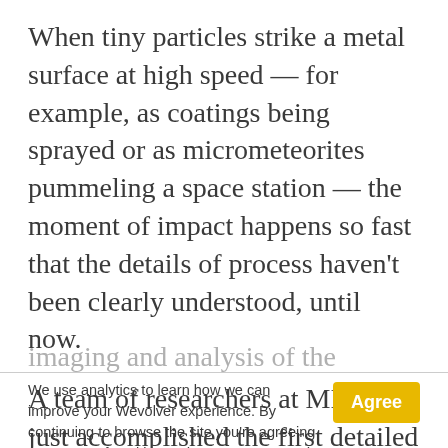When tiny particles strike a metal surface at high speed — for example, as coatings being sprayed or as micrometeorites pummeling a space station — the moment of impact happens so fast that the details of process haven't been clearly understood, until now.
A team of researchers at MIT has just accomplished the first detailed high-speed imaging and analysis of the microparticle
We use analytics to learn how we can improve your Wevolver experience. By continuing to browse the site you're agreeing to our use of cookies to do so. You can read our cookie policy here.